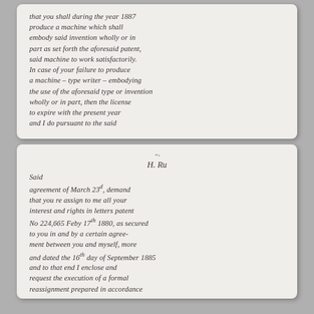that you shall during the year 1887 produce a machine which shall embody said invention wholly or in part as set forth the aforesaid patent, said machine to work satisfactorily. In case of your failure to produce a machine - type writer - embodying the use of the aforesaid type or invention wholly or in part, then the license to expire with the present year and I do pursuant to the said
Said agreement of March 23d, demand that you re assign to me all your interest and rights in letters patent No 224,665 Feby 17th 1880, as secured to you in and by a certain agreement between you and myself, more and dated the 16th day of September 1885 and to that end I enclose and request the execution of a formal reassignment prepared in accordance